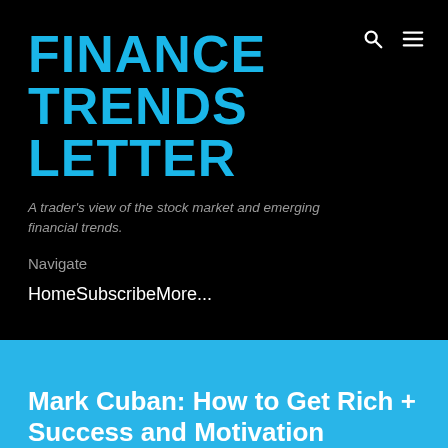FINANCE TRENDS LETTER
A trader's view of the stock market and emerging financial trends.
Navigate
Home
Subscribe
More...
Mark Cuban: How to Get Rich + Success and Motivation